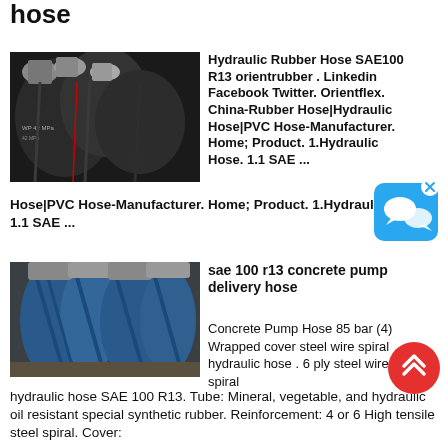hose
[Figure (photo): Photo of black hydraulic rubber hoses with metal fittings, multiple hoses bundled together showing pressure markings WP 42 MPa]
Hydraulic Rubber Hose SAE100 R13 orientrubber . Linkedin Facebook Twitter. Orientflex. China-Rubber Hose|Hydraulic Hose|PVC Hose-Manufacturer. Home; Product. 1.Hydraulic Hose. 1.1 SAE ...
[Figure (other): Blue chat bubble icon with 'x' close button]
[Figure (photo): Photo of blue and grey large diameter concrete pump delivery hoses with metal end fittings]
sae 100 r13 concrete pump delivery hose
Concrete Pump Hose 85 bar (4) Wrapped cover steel wire spiral hydraulic hose . 6 ply steel wire spiral hydraulic hose SAE 100 R13. Tube: Mineral, vegetable, and hydraulic oil resistant special synthetic rubber. Reinforcement: 4 or 6 High tensile steel spiral. Cover: